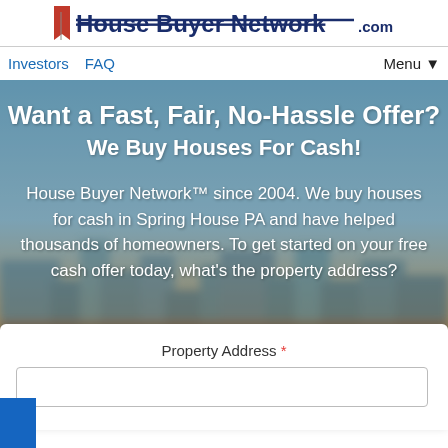[Figure (screenshot): House Buyer Network .com logo with red flag/arrow icon and strikethrough styling on website header]
Investors  FAQ  Menu ▼
Want a Fast, Fair, No-Hassle Offer? We Buy Houses For Cash!
House Buyer Network™ since 2004. We buy houses for cash in Spring House PA and have helped thousands of homeowners. To get started on your free cash offer today, what's the property address?
Property Address *